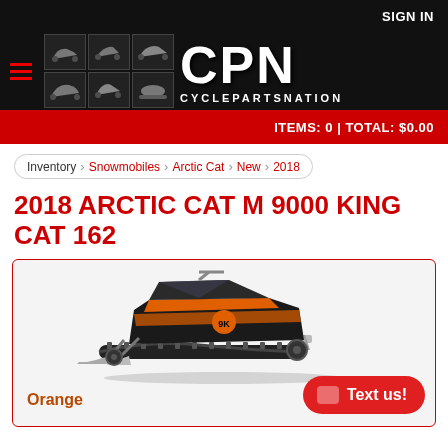SIGN IN
[Figure (logo): CyclePartsNation (CPN) logo with grid of powersports vehicle images and large CPN lettering]
ITEMS: 0 | TOTAL: $0.00
Inventory > Snowmobiles > Arctic Cat > New > 2018
2018 ARCTIC CAT M 9000 KING CAT 162
[Figure (photo): 2018 Arctic Cat M 9000 King Cat 162 snowmobile in orange and black colorway, side profile view]
Orange
Text us!